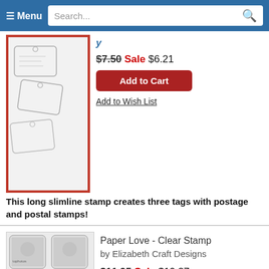Menu   Search...
[Figure (photo): Stamp product image showing three tags with postage and postal stamps design, with red border frame]
$7.50 Sale $6.21
Add to Cart
Add to Wish List
This long slimline stamp creates three tags with postage and postal stamps!
[Figure (photo): Paper Love Clear Stamp product image by Elizabeth Craft Designs, showing various stamp designs including paper, love, family, you text stamps]
Paper Love - Clear Stamp
by Elizabeth Craft Designs
$11.95 Sale $10.27
Add to Cart
Add to Wish List
Clear stamp from Elizabeth Craft Designs featuring